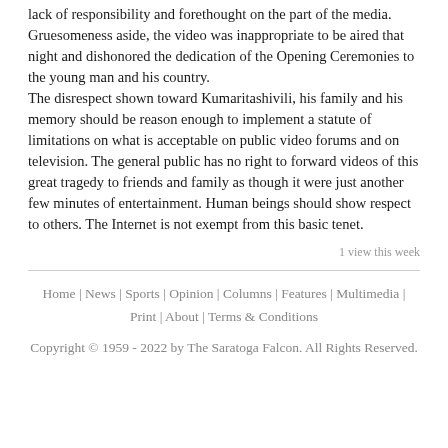lack of responsibility and forethought on the part of the media. Gruesomeness aside, the video was inappropriate to be aired that night and dishonored the dedication of the Opening Ceremonies to the young man and his country.
The disrespect shown toward Kumaritashivili, his family and his memory should be reason enough to implement a statute of limitations on what is acceptable on public video forums and on television. The general public has no right to forward videos of this great tragedy to friends and family as though it were just another few minutes of entertainment. Human beings should show respect to others. The Internet is not exempt from this basic tenet.
1 view this week
Home | News | Sports | Opinion | Columns | Features | Multimedia | Print | About | Terms & Conditions
Copyright © 1959 - 2022 by The Saratoga Falcon. All Rights Reserved.